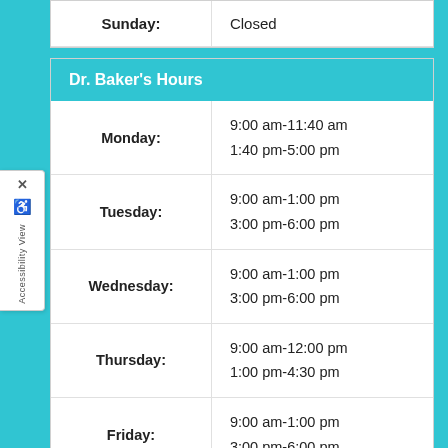| Day | Hours |
| --- | --- |
| Sunday: | Closed |
Dr. Baker's Hours
| Day | Hours |
| --- | --- |
| Monday: | 9:00 am-11:40 am
1:40 pm-5:00 pm |
| Tuesday: | 9:00 am-1:00 pm
3:00 pm-6:00 pm |
| Wednesday: | 9:00 am-1:00 pm
3:00 pm-6:00 pm |
| Thursday: | 9:00 am-12:00 pm
1:00 pm-4:30 pm |
| Friday: | 9:00 am-1:00 pm
3:00 pm-6:00 pm |
| Saturday: | 8:30 am-12:00 pm |